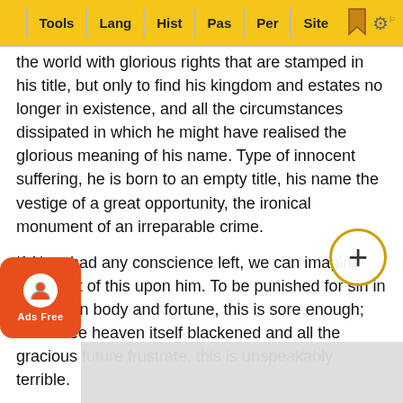Tools | Lang | Hist | Pas | Per | Site
the world with glorious rights that are stamped in his title, but only to find his kingdom and estates no longer in existence, and all the circumstances dissipated in which he might have realised the glorious meaning of his name. Type of innocent suffering, he is born to an empty title, his name the vestige of a great opportunity, the ironical monument of an irreparable crime.
If Ahaz had any conscience left, we can imagine the effect of this upon him. To be punished for sin in one's own body and fortune, this is sore enough; but to see heaven itself blackened and all the gracious future frustrate, this is unspeakably terrible.
Ahaz is thus the Judas of the Old Testament, if that [con]ception of Judas' character be the right one which [a w]ilful desire to bring about the kingdom of God in his own violent fashion the motive of his betrayal of Jesus. Of his own d[...] [deli]verer of his [...] of his